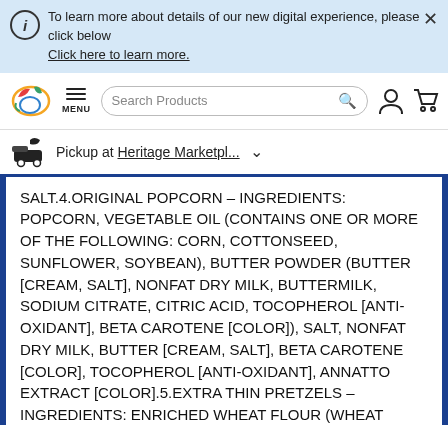To learn more about details of our new digital experience, please click below
Click here to learn more.
[Figure (logo): Grocery store logo with colorful fruit/vegetable icon]
MENU
Search Products
Pickup at Heritage Marketpl...
SALT.4.ORIGINAL POPCORN – INGREDIENTS: POPCORN, VEGETABLE OIL (CONTAINS ONE OR MORE OF THE FOLLOWING: CORN, COTTONSEED, SUNFLOWER, SOYBEAN), BUTTER POWDER (BUTTER [CREAM, SALT], NONFAT DRY MILK, BUTTERMILK, SODIUM CITRATE, CITRIC ACID, TOCOPHEROL [ANTI-OXIDANT], BETA CAROTENE [COLOR]), SALT, NONFAT DRY MILK, BUTTER [CREAM, SALT], BETA CAROTENE [COLOR], TOCOPHEROL [ANTI-OXIDANT], ANNATTO EXTRACT [COLOR].5.EXTRA THIN PRETZELS – INGREDIENTS: ENRICHED WHEAT FLOUR (WHEAT FLOUR, NIACIN, REDUCED IRON, THIAMINE MONONITRATE [VITAMIN B1], RIBOFLAVIN [VITAMIN B2], FOLIC ACID), SALT, MALT,